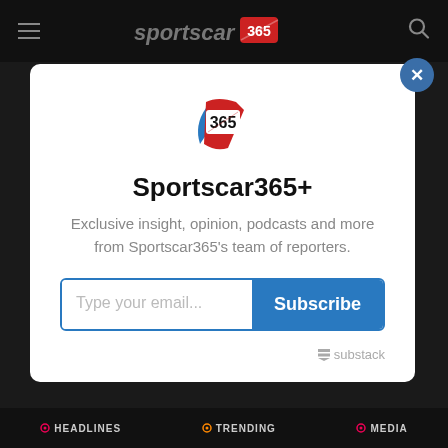[Figure (screenshot): Sportscar365 website header with hamburger menu, logo, and search icon on dark background]
[Figure (logo): Sportscar365 '365' badge logo in red and blue]
Sportscar365+
Exclusive insight, opinion, podcasts and more from Sportscar365's team of reporters.
Type your email... Subscribe
substack
HEADLINES  TRENDING  MEDIA